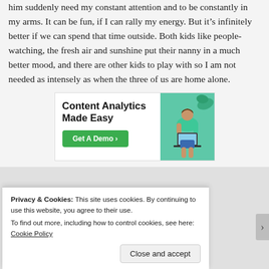him suddenly need my constant attention and to be constantly in my arms. It can be fun, if I can rally my energy. But it's infinitely better if we can spend that time outside. Both kids like people-watching, the fresh air and sunshine put their nanny in a much better mood, and there are other kids to play with so I am not needed as intensely as when the three of us are home alone.
[Figure (infographic): Advertisement banner for 'Content Analytics Made Easy' with green button 'Get A Demo' and photo of a woman in green blouse using a laptop]
Privacy & Cookies: This site uses cookies. By continuing to use this website, you agree to their use.
To find out more, including how to control cookies, see here: Cookie Policy
Close and accept